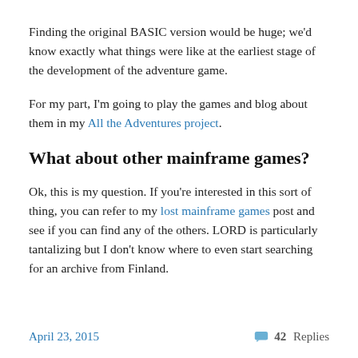Finding the original BASIC version would be huge; we'd know exactly what things were like at the earliest stage of the development of the adventure game.
For my part, I'm going to play the games and blog about them in my All the Adventures project.
What about other mainframe games?
Ok, this is my question. If you're interested in this sort of thing, you can refer to my lost mainframe games post and see if you can find any of the others. LORD is particularly tantalizing but I don't know where to even start searching for an archive from Finland.
April 23, 2015   💬 42 Replies